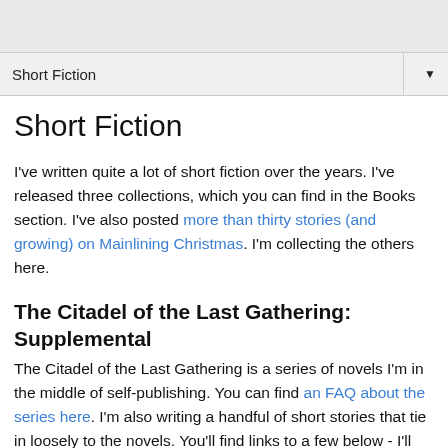Short Fiction ▼
Short Fiction
I've written quite a lot of short fiction over the years. I've released three collections, which you can find in the Books section. I've also posted more than thirty stories (and growing) on Mainlining Christmas. I'm collecting the others here.
The Citadel of the Last Gathering: Supplemental
The Citadel of the Last Gathering is a series of novels I'm in the middle of self-publishing. You can find an FAQ about the series here. I'm also writing a handful of short stories that tie in loosely to the novels. You'll find links to a few below - I'll add more as soon as they're ready.